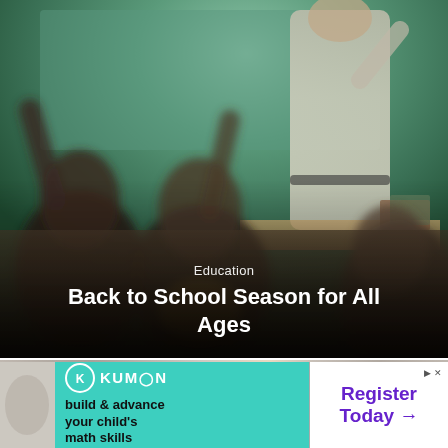[Figure (photo): Classroom scene with teacher standing at chalkboard, students (children) raising hands at desks. Image is blurred in foreground. Dark overlay at bottom with text overlay.]
Education
Back to School Season for All Ages
[Figure (photo): Partial classroom image strip, appears to show a bulletin board or classroom wall with various items.]
[Figure (infographic): Kumon advertisement banner. Left side teal/green background with Kumon logo and text 'build & advance your child's math skills'. Right side white background with purple text 'Register Today →' and small 'D X' marker in top right.]